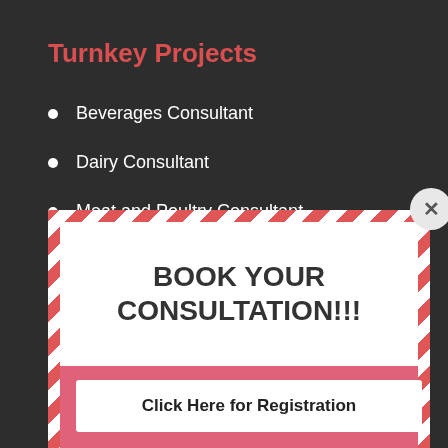Turnkey Projects
Beverages Consultant
Dairy Consultant
Meat and Poultry Consultant
Frozen Foods Consultant
BOOK YOUR CONSULTATION!!!
Click Here for Registration